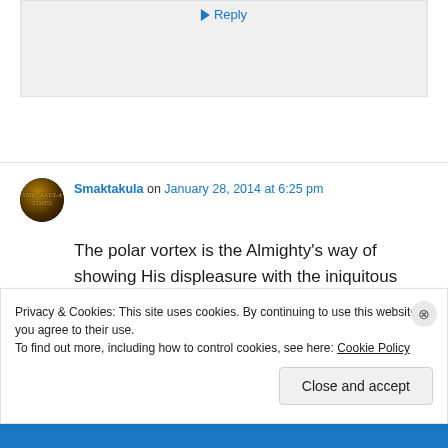[Figure (screenshot): Gray comment box with Reply link at top]
Smaktakula on January 28, 2014 at 6:25 pm
The polar vortex is the Almighty's way of showing His displeasure with the iniquitous denizens of the 5 boroughs. But following the
Privacy & Cookies: This site uses cookies. By continuing to use this website, you agree to their use.
To find out more, including how to control cookies, see here: Cookie Policy
Close and accept